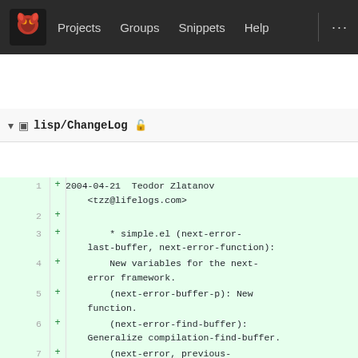Projects  Groups  Snippets  Help  ...
lisp/ChangeLog
1  + 2004-04-21  Teodor Zlatanov <tzz@lifelogs.com>
2  +
3  +          * simple.el (next-error-last-buffer, next-error-function):
4  +          New variables for the next-error framework.
5  +          (next-error-buffer-p): New function.
6  +          (next-error-find-buffer): Generalize compilation-find-buffer.
7  +          (next-error, previous-error, first-error, next-error-no-select)
8  +          (previous-error-no-select): Move from compile.el.
9  +
10 +          * replace.el (occur-next-error, occur-1): Hook into the next-